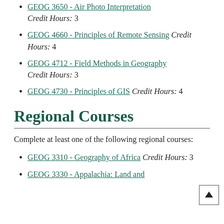GEOG 3650 - Air Photo Interpretation Credit Hours: 3
GEOG 4660 - Principles of Remote Sensing Credit Hours: 4
GEOG 4712 - Field Methods in Geography Credit Hours: 3
GEOG 4730 - Principles of GIS Credit Hours: 4
Regional Courses
Complete at least one of the following regional courses:
GEOG 3310 - Geography of Africa Credit Hours: 3
GEOG 3330 - Appalachia: Land and